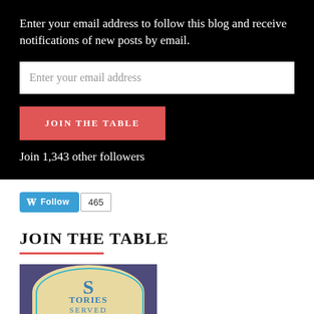Enter your email address to follow this blog and receive notifications of new posts by email.
Enter your email address
JOIN THE TABLE
Join 1,343 other followers
[Figure (other): WordPress Follow button with follower count badge showing 465]
JOIN THE TABLE
[Figure (logo): Stories Served logo — circular teal border on a cream background with large decorative S and text STORIES SERVED, set inside a purple-bordered square frame]